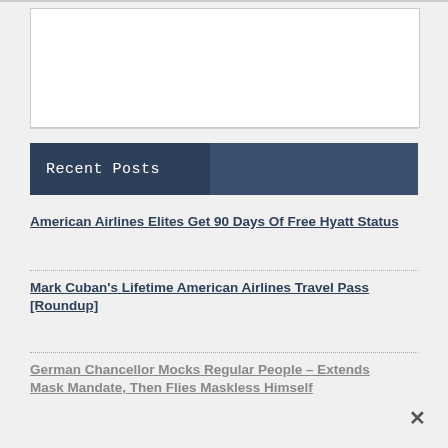[Figure (other): White advertisement placeholder box with border]
Recent Posts
American Airlines Elites Get 90 Days Of Free Hyatt Status
Mark Cuban's Lifetime American Airlines Travel Pass [Roundup]
German Chancellor Mocks Regular People – Extends Mask Mandate, Then Flies Maskless Himself